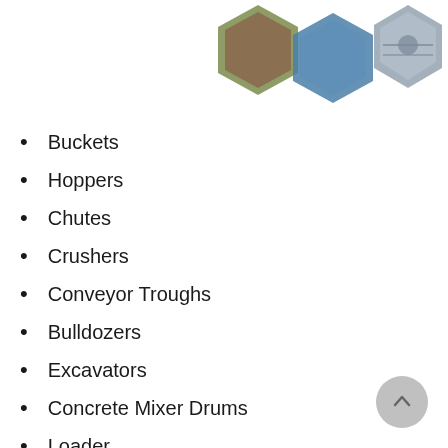[Figure (illustration): Three hexagonal images at the top of the page showing industrial/construction scenes]
Buckets
Hoppers
Chutes
Crushers
Conveyor Troughs
Bulldozers
Excavators
Concrete Mixer Drums
Loader
Dump Trucks
Lorries
Slurry Pipe Systems
Industrial Trucks